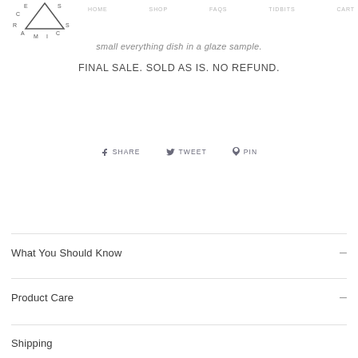HOME  SHOP  FAQS  TIDBITS  CART
[Figure (logo): Ceramics brand logo with triangle and circular letter arrangement spelling CERAMICS]
small everything dish in a glaze sample.
FINAL SALE. SOLD AS IS. NO REFUND.
f SHARE  ♥ TWEET  ♡ PIN
What You Should Know
Product Care
Shipping